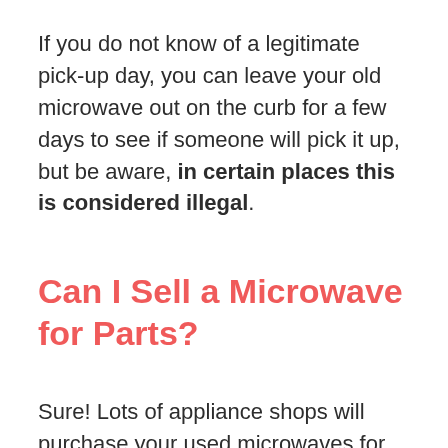If you do not know of a legitimate pick-up day, you can leave your old microwave out on the curb for a few days to see if someone will pick it up, but be aware, in certain places this is considered illegal.
Can I Sell a Microwave for Parts?
Sure! Lots of appliance shops will purchase your used microwaves for parts (most-likely